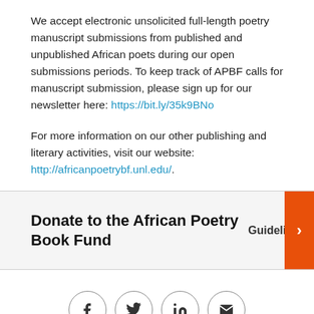We accept electronic unsolicited full-length poetry manuscript submissions from published and unpublished African poets during our open submissions periods. To keep track of APBF calls for manuscript submission, please sign up for our newsletter here: https://bit.ly/35k9BNo
For more information on our other publishing and literary activities, visit our website: http://africanpoetrybf.unl.edu/.
Donate to the African Poetry Book Fund
Guidelines
[Figure (other): Social media share icons: Facebook, Twitter, LinkedIn, Email — circular outlined buttons]